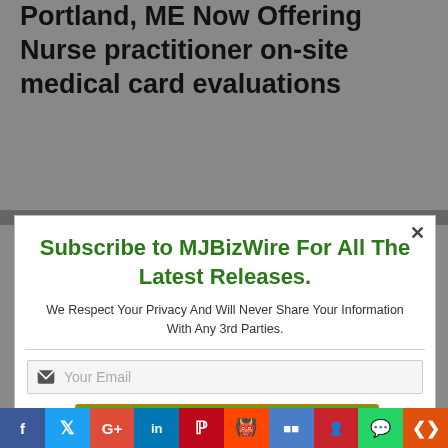Portland, ME Now Offering Nurse Practitioner On-site Medical Card Evaluations
[Figure (screenshot): Modal popup: Subscribe to MJBizWire For All The Latest Releases. Email input field and Subscribe Now button.]
Katryna Noyes, Vice President of Grass Monkey Cannabis Company, said, "We have brought in a nurse practitioner from Beach Health Center once a week to help Maine patients obtain their medical card. Any Maine resident who is 18 or over can
[Figure (infographic): Social media sharing bar with icons for Facebook, Twitter, Google+, LinkedIn, Pinterest, Reddit, Digg, StumbleUpon, WhatsApp, and More.]